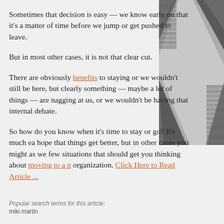Sometimes that decision is easy — we know early on that it's a matter of time before we jump or get pushed to leave.
But in most other cases, it is not that clear cut.
There are obviously benefits to staying or we wouldn't still be here, but clearly something — maybe a lot of things — are nagging at us, or we wouldn't be having that internal debate.
[Figure (photo): Black and white photo of brick pavement with a diagonal white line or path.]
So how do you know when it's time to stay or go? It's much easier to hope that things get better, but in other cases you might as well ... few situations that should get you thinking about moving to a new organization. Click Here to Read Article ...
Popular search terms for this article:
miki martin